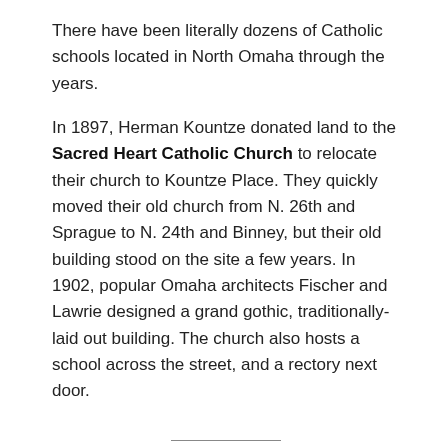There have been literally dozens of Catholic schools located in North Omaha through the years.
In 1897, Herman Kountze donated land to the Sacred Heart Catholic Church to relocate their church to Kountze Place. They quickly moved their old church from N. 26th and Sprague to N. 24th and Binney, but their old building stood on the site a few years. In 1902, popular Omaha architects Fischer and Lawrie designed a grand gothic, traditionally-laid out building. The church also hosts a school across the street, and a rectory next door.
Former Churches in